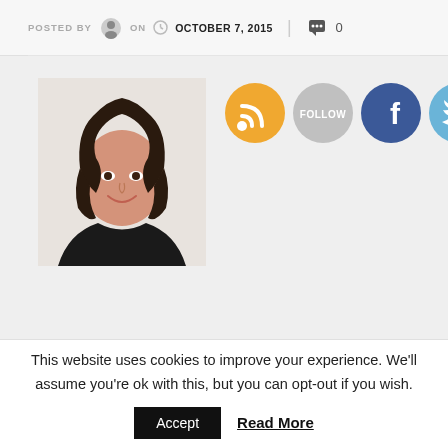POSTED BY  ON  OCTOBER 7, 2015  |  0
[Figure (photo): Profile photo of a woman with dark bob haircut wearing a black top, smiling. Social media icons: RSS (orange), Follow (gray), Facebook (blue), Twitter (light blue) shown to the right.]
This website uses cookies to improve your experience. We'll assume you're ok with this, but you can opt-out if you wish.
Accept  Read More